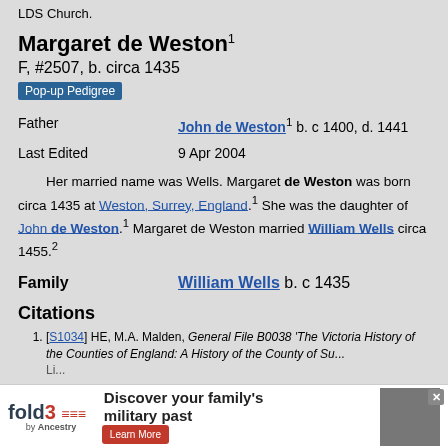LDS Church.
Margaret de Weston¹
F, #2507, b. circa 1435
Pop-up Pedigree
| Father | John de Weston¹ b. c 1400, d. 1441 |
| Last Edited | 9 Apr 2004 |
Her married name was Wells. Margaret de Weston was born circa 1435 at Weston, Surrey, England.¹ She was the daughter of John de Weston.¹ Margaret de Weston married William Wells circa 1455.²
| Family | William Wells b. c 1435 |
Citations
[S1034] HE, M.A. Malden, General File B0038 'The Victoria History of the Counties of England: A History of the County of Su... Li...
[S...] ...unties